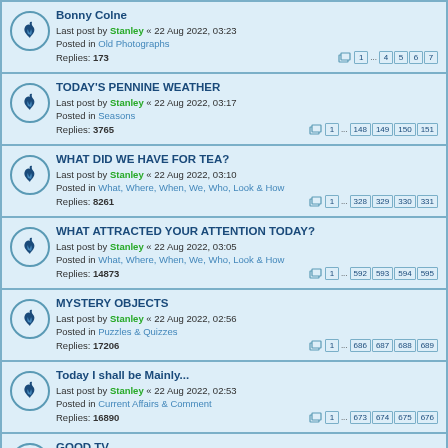Bonny Colne
Last post by Stanley « 22 Aug 2022, 03:23
Posted in Old Photographs
Replies: 173
Pages: 1 ... 4 5 6 7
TODAY'S PENNINE WEATHER
Last post by Stanley « 22 Aug 2022, 03:17
Posted in Seasons
Replies: 3765
Pages: 1 ... 148 149 150 151
WHAT DID WE HAVE FOR TEA?
Last post by Stanley « 22 Aug 2022, 03:10
Posted in What, Where, When, We, Who, Look & How
Replies: 8261
Pages: 1 ... 328 329 330 331
WHAT ATTRACTED YOUR ATTENTION TODAY?
Last post by Stanley « 22 Aug 2022, 03:05
Posted in What, Where, When, We, Who, Look & How
Replies: 14873
Pages: 1 ... 592 593 594 595
MYSTERY OBJECTS
Last post by Stanley « 22 Aug 2022, 02:56
Posted in Puzzles & Quizzes
Replies: 17206
Pages: 1 ... 686 687 688 689
Today I shall be Mainly...
Last post by Stanley « 22 Aug 2022, 02:53
Posted in Current Affairs & Comment
Replies: 16890
Pages: 1 ... 673 674 675 676
GOOD TV